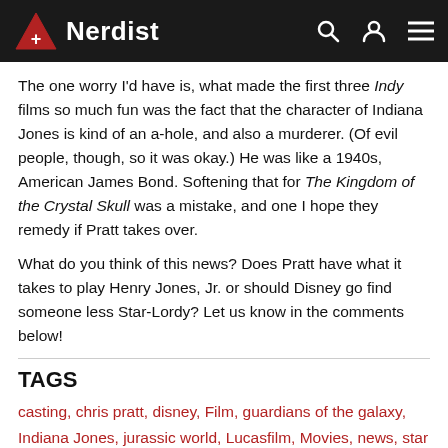Nerdist
The one worry I'd have is, what made the first three Indy films so much fun was the fact that the character of Indiana Jones is kind of an a-hole, and also a murderer. (Of evil people, though, so it was okay.) He was like a 1940s, American James Bond. Softening that for The Kingdom of the Crystal Skull was a mistake, and one I hope they remedy if Pratt takes over.
What do you think of this news? Does Pratt have what it takes to play Henry Jones, Jr. or should Disney go find someone less Star-Lordy? Let us know in the comments below!
TAGS
casting, chris pratt, disney, Film, guardians of the galaxy, Indiana Jones, jurassic world, Lucasfilm, Movies, news, star wars
RELATED POSTS | WHAT'S NEW | WHAT'S TRENDING